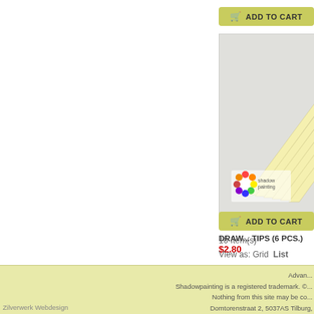[Figure (other): Add to Cart button at top of page]
[Figure (photo): Product photo of SP0203 Shadowpainting drawing tips (6 pcs.) showing yellow cone-shaped tips arranged in a row with Shadowpainting logo]
SP0203 SHADOWPAINTING DRAWING TIPS (6 PCS.)
$2.80
[Figure (other): Add to Cart button below product]
10 Item(s)
View as: Grid  List
Advan... Shadowpainting is a registered trademark. ©... Nothing from this site may be co... Domtorenstraat 2, 5037AS Tilburg,... Zilverwerk Webdesign